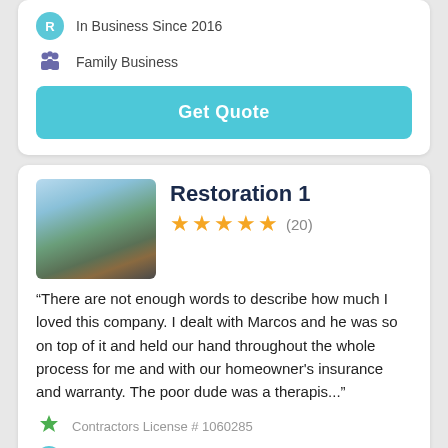In Business Since 2016
Family Business
Get Quote
Restoration 1
[Figure (photo): Exterior photo of a house with a red door, green lawn, and cloudy sky]
★★★★★ (20)
"There are not enough words to describe how much I loved this company. I dealt with Marcos and he was so on top of it and held our hand throughout the whole process for me and with our homeowner's insurance and warranty. The poor dude was a therapis..."
Contractors License # 1060285
In Business Since 2018
Emergency Services